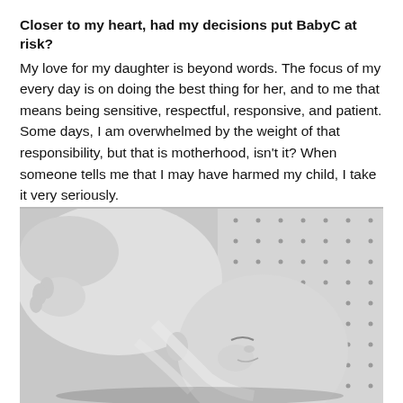Closer to my heart, had my decisions put BabyC at risk?
My love for my daughter is beyond words. The focus of my every day is on doing the best thing for her, and to me that means being sensitive, respectful, responsive, and patient. Some days, I am overwhelmed by the weight of that responsibility, but that is motherhood, isn't it? When someone tells me that I may have harmed my child, I take it very seriously.
[Figure (photo): Black and white photograph of a sleeping newborn baby lying on a dotted surface, with small hands and feet visible.]